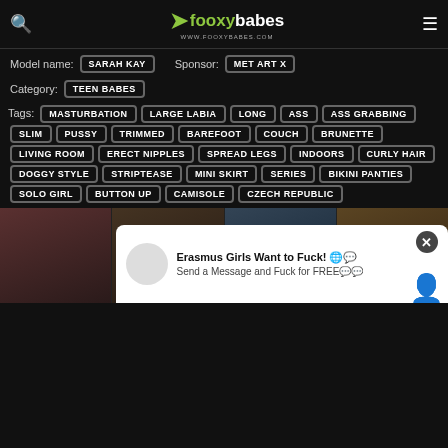fooxybabes www.fooxybabes.com
Model name: SARAH KAY   Sponsor: MET ART X
Category: TEEN BABES
Tags: MASTURBATION  LARGE LABIA  LONG  ASS  ASS GRABBING  SLIM  PUSSY  TRIMMED  BAREFOOT  COUCH  BRUNETTE  LIVING ROOM  ERECT NIPPLES  SPREAD LEGS  INDOORS  CURLY HAIR  DOGGY STYLE  STRIPTEASE  MINI SKIRT  SERIES  BIKINI PANTIES  SOLO GIRL  BUTTON UP  CAMISOLE  CZECH REPUBLIC
[Figure (photo): Four thumbnail photos in a strip at the bottom of the page]
Erasmus Girls Want to Fuck! 🌐💬
Send a Message and Fuck for FREE💬💬